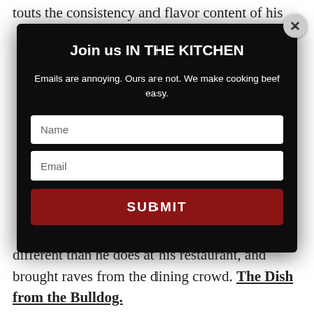touts the consistency and flavor content of his
[Figure (screenshot): A modal popup dialog with black background. Title: 'Join us IN THE KITCHEN'. Subtitle: 'Emails are annoying. Ours are not. We make cooking beef easy.' Two input fields (Name, Email) and a dark red SUBMIT button. An X close button at top right.]
different than he does at his restaurant, and brought raves from the dining crowd. The Dish from the Bulldog.